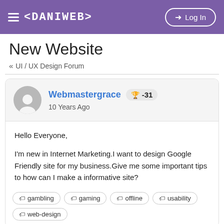≡ <DANIWEB> → Log In
New Website
« UI / UX Design Forum
Webmastergrace 🏆 -31
10 Years Ago
Hello Everyone,

I'm new in Internet Marketing.I want to design Google Friendly site for my business.Give me some important tips to how can I make a informative site?
🏷 gambling
🏷 gaming
🏷 offline
🏷 usability
🏷 web-design